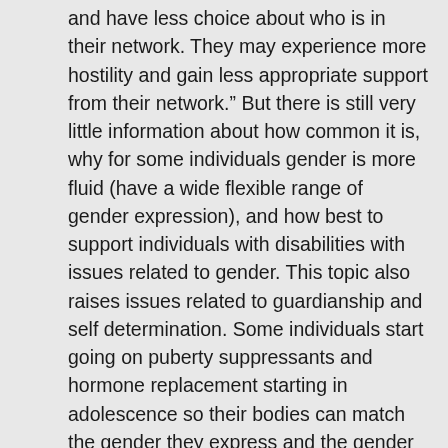and have less choice about who is in their network. They may experience more hostility and gain less appropriate support from their network.”  But there is still very little information about how common it is, why for some individuals gender is more fluid (have a wide flexible range of gender expression), and how best to support individuals with disabilities with issues related to gender.   This topic also raises issues related to guardianship and self determination.  Some individuals start going on puberty suppressants and hormone replacement starting in adolescence so their bodies can match the gender they express and the gender they identify with.  For people with disabilities, who gets to make that choice?